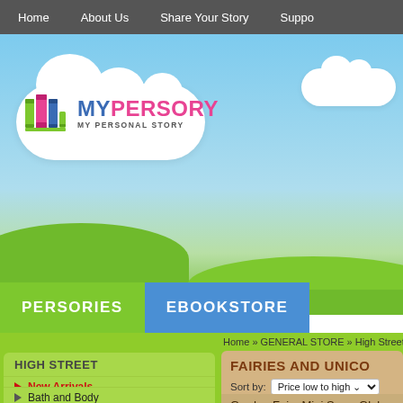Home | About Us | Share Your Story | Support
[Figure (screenshot): MyPersory website logo with colorful book icons and text MY PERSONAL STORY on a sky/cloud background with green hills]
PERSORIES   EBOOKSTORE
Home » GENERAL STORE » High Street » M
HIGH STREET
New Arrivals
Accessories
Automobile
Bath and Body
Books and More
Bulk Buys
FAIRIES AND UNICO
Sort by: Price low to high
Garden Fairy Mini Snow Globe